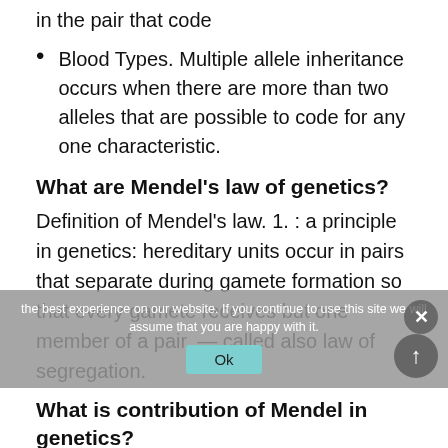in the pair that code
Blood Types. Multiple allele inheritance occurs when there are more than two alleles that are possible to code for any one characteristic.
What are Mendel's law of genetics?
Definition of Mendel's law. 1. : a principle in genetics: hereditary units occur in pairs that separate during gamete formation so that every gamete receives but one member of a pair. — called also law of segregation.
What is contribution of Mendel in genetics?
Mendel is now called the father of genetics for...